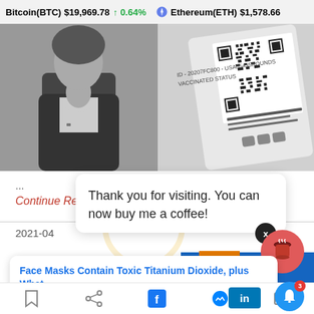Bitcoin(BTC) $19,969.78 ↑ 0.64% Ethereum(ETH) $1,578.66
[Figure (photo): Two grayscale images side by side: left shows a person wearing a dark cardigan with a necklace; right shows a smartphone or card with a QR code and text 'VACCINATED STATUS']
...
Continue Reading →
2021-04
Thank you for visiting. You can now buy me a coffee!
Face Masks Contain Toxic Titanium Dioxide, plus What
7 hours ago